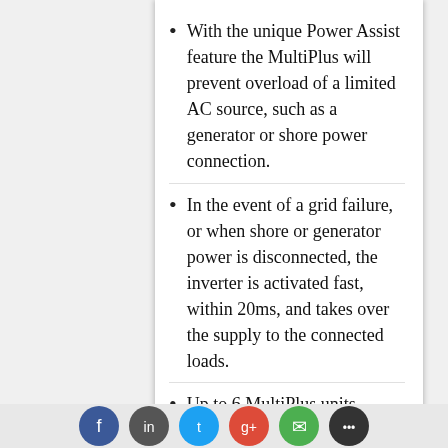With the unique Power Assist feature the MultiPlus will prevent overload of a limited AC source, such as a generator or shore power connection.
In the event of a grid failure, or when shore or generator power is disconnected, the inverter is activated fast, within 20ms, and takes over the supply to the connected loads.
Up to 6 MultiPlus units